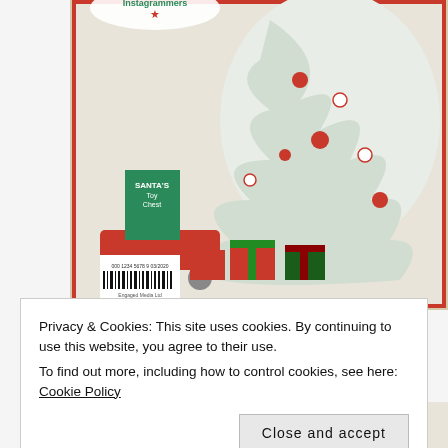[Figure (photo): Cover of 2020 Flea Market Décor Magazine Holiday Issue showing a Christmas tree decorated with Santa ornaments and collectibles, gifts underneath, and a barcode visible at the bottom left with 'Engaged Media Ltd' text.]
Featured in 2020 Flea Market Décor Magazine Holiday Issue
FEATURED IN HOLIDAY DÉCOR MAGAZINE
Privacy & Cookies: This site uses cookies. By continuing to use this website, you agree to their use.
To find out more, including how to control cookies, see here: Cookie Policy
[Figure (photo): Partial view of a holiday magazine page showing the word HOLIDAY in large red text at the bottom of the page.]